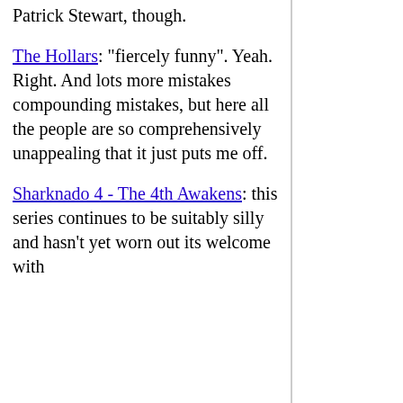Patrick Stewart, though.
The Hollars: "fiercely funny". Yeah. Right. And lots more mistakes compounding mistakes, but here all the people are so comprehensively unappealing that it just puts me off.
Sharknado 4 - The 4th Awakens: this series continues to be suitably silly and hasn't yet worn out its welcome with